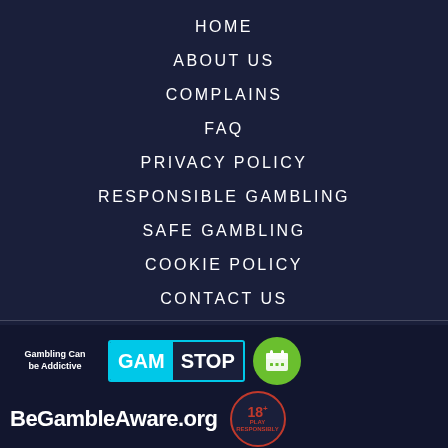HOME
ABOUT US
COMPLAINS
FAQ
PRIVACY POLICY
RESPONSIBLE GAMBLING
SAFE GAMBLING
COOKIE POLICY
CONTACT US
[Figure (logo): Footer logos: Gambling Can Be Addictive text, GamStop badge, calendar/schedule badge, BeGambleAware.org logo, 18+ Play Responsibly badge]